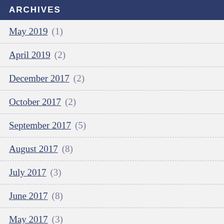ARCHIVES
May 2019 (1)
April 2019 (2)
December 2017 (2)
October 2017 (2)
September 2017 (5)
August 2017 (8)
July 2017 (3)
June 2017 (8)
May 2017 (3)